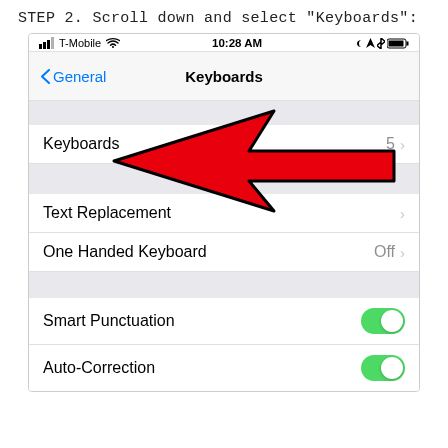STEP 2.  Scroll down and select "Keyboards":
[Figure (screenshot): iPhone iOS Settings screenshot showing the Keyboards settings page with a Navigation bar showing 'General' back button and 'Keyboards' title. Rows include: Keyboards (5 >), Text Replacement (>), One Handed Keyboard (Off >), Smart Punctuation (toggle on), Auto-Correction (toggle on). A large red arrow points to the 'Keyboards' row.]